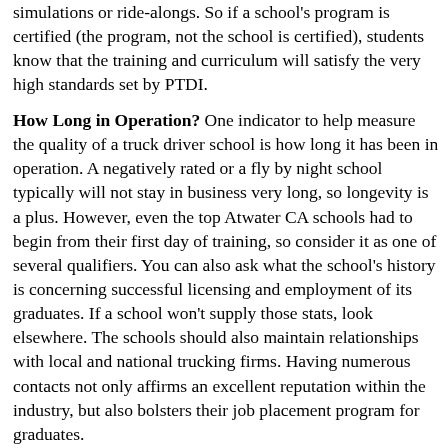simulations or ride-alongs. So if a school's program is certified (the program, not the school is certified), students know that the training and curriculum will satisfy the very high standards set by PTDI.
How Long in Operation? One indicator to help measure the quality of a truck driver school is how long it has been in operation. A negatively rated or a fly by night school typically will not stay in business very long, so longevity is a plus. However, even the top Atwater CA schools had to begin from their first day of training, so consider it as one of several qualifiers. You can also ask what the school's history is concerning successful licensing and employment of its graduates. If a school won't supply those stats, look elsewhere. The schools should also maintain relationships with local and national trucking firms. Having numerous contacts not only affirms an excellent reputation within the industry, but also bolsters their job placement program for graduates.